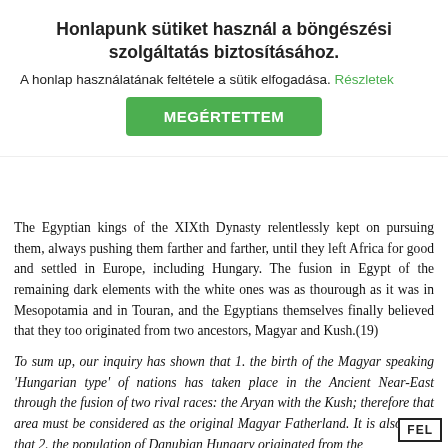Honlapunk sütiket használ a böngészési szolgáltatás biztosításához.
A honlap használatának feltétele a sütik elfogadása. Részletek
MEGÉRTETTEM
The Egyptian kings of the XIXth Dynasty relentlessly kept on pursuing them, always pushing them farther and farther, until they left Africa for good and settled in Europe, including Hungary. The fusion in Egypt of the remaining dark elements with the white ones was as thourough as it was in Mesopotamia and in Touran, and the Egyptians themselves finally believed that they too originated from two ancestors, Magyar and Kush.(19)
To sum up, our inquiry has shown that 1. the birth of the Magyar speaking 'Hungarian type' of nations has taken place in the Ancient Near-East through the fusion of two rival races: the Aryan with the Kush; therefore that area must be considered as the original Magyar Fatherland. It is also clear that 2. the population of Danubian Hungary originated from the